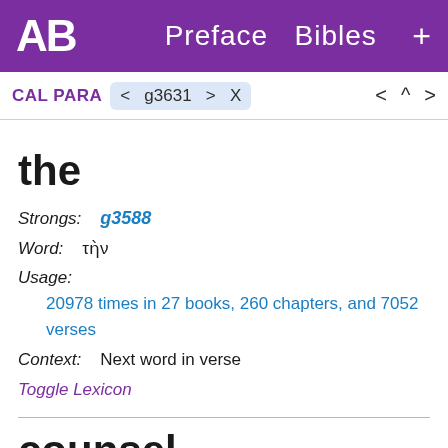AB   Preface  Bibles  +
CAL PARA  < g3631 > X    < ^ >
the
Strongs:   g3588
Word:   τὴν
Usage:
20978 times in 27 books, 260 chapters, and 7052 verses
Context:   Next word in verse
Toggle Lexicon
counsel
Strongs:   g1012